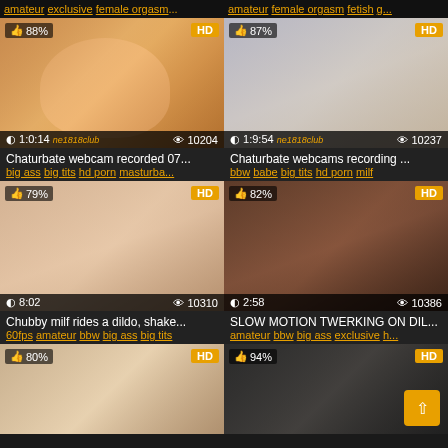amateur exclusive female orgas... | amateur female orgasm fetish g...
[Figure (screenshot): Video thumbnail: blonde woman, 88% rating, HD, 1:0:14 duration, 10204 views, ne1818club watermark]
Chaturbate webcam recorded 07...
big ass big tits hd porn masturba...
[Figure (screenshot): Video thumbnail: blonde woman on couch, 87% rating, HD, 1:9:54 duration, 10237 views, ne1818club watermark]
Chaturbate webcams recording ...
bbw babe big tits hd porn milf
[Figure (screenshot): Video thumbnail: chubby woman on bed, 79% rating, HD, 8:02 duration, 10310 views]
Chubby milf rides a dildo, shake...
60fps amateur bbw big ass big tits
[Figure (screenshot): Video thumbnail: twerking on dildo, 82% rating, HD, 2:58 duration, 10386 views]
SLOW MOTION TWERKING ON DIL...
amateur bbw big ass exclusive h...
[Figure (screenshot): Video thumbnail: mature woman in floral jacket, 80% rating, HD, partially visible]
[Figure (screenshot): Video thumbnail: woman in black outfit, 94% rating, HD, partially visible, scroll-up button overlay]